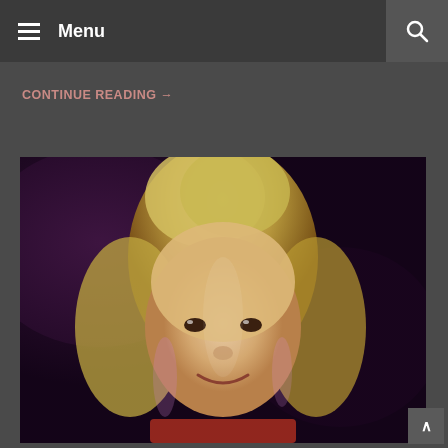≡ Menu
CONTINUE READING →
[Figure (photo): School portrait-style photo of a young blonde girl smiling, against a dark purple/black mottled background]
∧